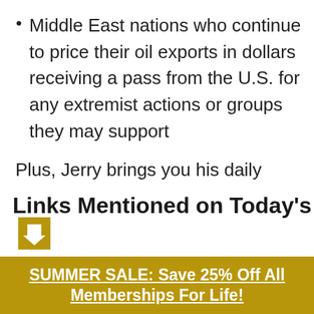Middle East nations who continue to price their oil exports in dollars receiving a pass from the U.S. for any extremist actions or groups they may support
Plus, Jerry brings you his daily comments on the stock market and oil prices. All this and more is right here on Follow the Money Daily!
Links Mentioned on Today's
SUMMER SALE: Save 25% Off All Memberships For Life!